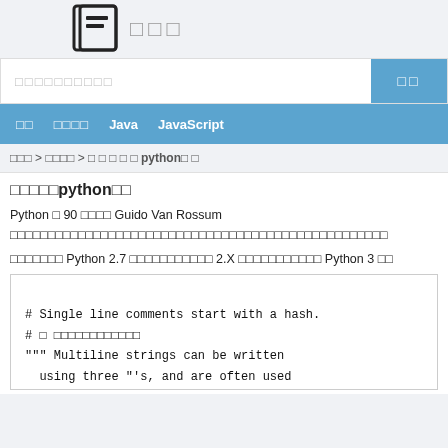[logo] □□□
□□□□□□□□□□  □□
□□  □□□□  Java  JavaScript
□□□ > □□□□ > □ □ □ □ □ python□ □
□□□□□python□□
Python □ 90 □□□□ Guido Van Rossum □□□□□□□□□□□□□□□□□□□□□□□□□□□□□□□□□□□□□□□□□□□□□□□□□□
□□□□□□□ Python 2.7 □□□□□□□□□□□ 2.X □□□□□□□□□□□ Python 3 □□
# Single line comments start with a hash.
# □ □□□□□□□□□□□□
""" Multiline strings can be written
  using three "'s, and are often used
  as comments
□□□□□□□□□□□□□□□